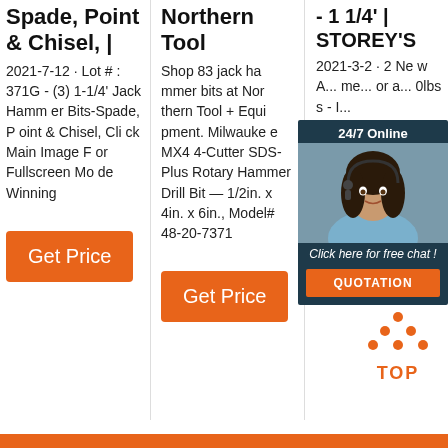Spade, Point & Chisel, |
2021-7-12 · Lot # : 371G - (3) 1-1/4' Jack Hammer Bits-Spade, Point & Chisel, Click Main Image For Fullscreen Mode Winning
[Figure (other): Orange Get Price button]
Northern Tool
Shop 83 jack hammer bits at Northern Tool + Equipment. Milwaukee MX4 4-Cutter SDS-Plus Rotary Hammer Drill Bit — 1/2in. x 4in. x 6in., Model# 48-20-7371
[Figure (other): Orange Get Price button]
- 1 1/4' | STOREY'S
2021-3-2 · 2 New Ame... or a... 0lbs s - I...
[Figure (other): 24/7 Online chat widget with woman photo and QUOTATION button]
[Figure (other): TOP icon with orange dots forming triangle above the letters TOP]